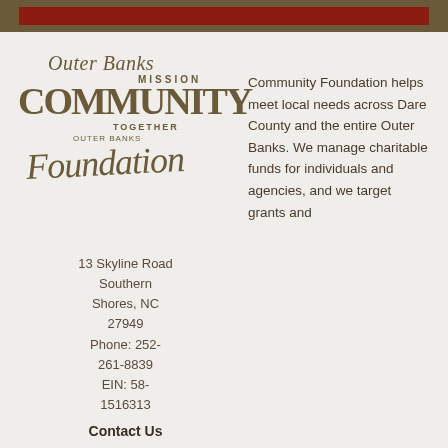[Figure (logo): Outer Banks Community Foundation logo with overlapping text layers including 'Outer Banks', 'MISSION', 'COMMUNITY', 'TOGETHER', and cursive 'Foundation']
13 Skyline Road
Southern Shores, NC 27949
Phone: 252-261-8839
EIN: 58-1516313
Contact Us
Community Foundation helps meet local needs across Dare County and the entire Outer Banks. We manage charitable funds for individuals and agencies, and we target grants and